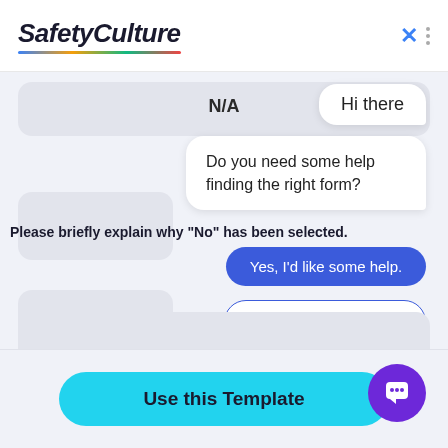SafetyCulture
N/A
Hi there
Do you need some help finding the right form?
Please briefly explain why "No" has been selected.
Yes, I'd like some help.
I want to import my own form.
No, I'm good. Thanks!
Use this Template